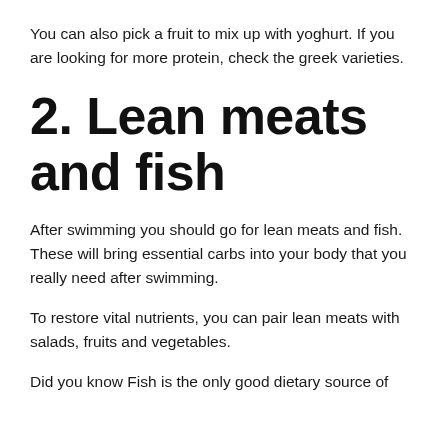You can also pick a fruit to mix up with yoghurt. If you are looking for more protein, check the greek varieties.
2. Lean meats and fish
After swimming you should go for lean meats and fish. These will bring essential carbs into your body that you really need after swimming.
To restore vital nutrients, you can pair lean meats with salads, fruits and vegetables.
Did you know Fish is the only good dietary source of